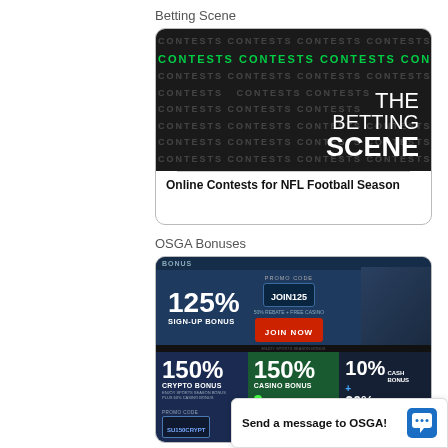Betting Scene
[Figure (screenshot): Thumbnail of The Betting Scene website showing 'CONTESTS' watermark text pattern in dark background with green 'CONTESTS CONTESTS CONTESTS CONTESTS CONTESTS' text row, and large white text reading 'THE BETTING SCENE']
Online Contests for NFL Football Season
OSGA Bonuses
[Figure (screenshot): Screenshot of an online sportsbook/casino website showing: top banner with 125% SIGN-UP BONUS with PROMO CODE JOIN125 and JOIN NOW button in red, basketball player image. Bottom section shows three bonus tiles: 150% CRYPTO BONUS with promo code SU150CRYPT, 150% CASINO BONUS (green background), and 10% CASH BONUS + 20% CASINO BONUS (navy background)]
Send a message to OSGA!